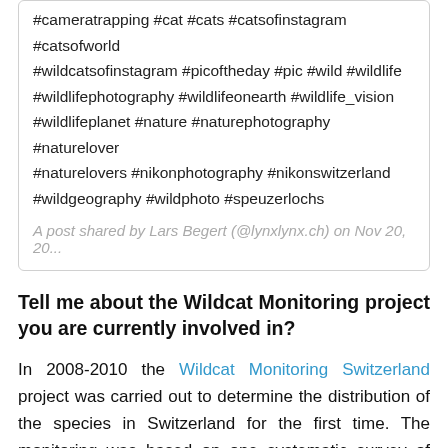#cameratrapping #cat #cats #catsofinstagram #catsofworld #wildcatsofinstagram #picoftheday #pic #wild #wildlife #wildlifephotography #wildlifeonearth #wildlife_vision #wildlifeplanet #nature #naturephotography #naturelover #naturelovers #nikonphotography #nikonswitzerland #wildgeography #wildphoto #speuzerlochs
A post shared by Lars Begert (@lynxlynx.ch) on Nov 20, 20...
Tell me about the Wildcat Monitoring project you are currently involved in?
In 2008-2010 the Wildcat Monitoring Switzerland project was carried out to determine the distribution of the species in Switzerland for the first time. The monitoring was based on one systematic survey of wildcat occurrences in the Jura, unfortunately I wasn't involved back then. Ten years later, the second survey is to be carried out to monitor...